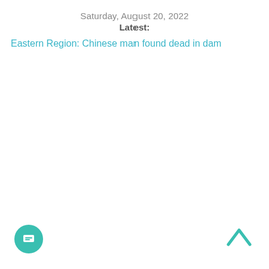Saturday, August 20, 2022
Latest:
Eastern Region: Chinese man found dead in dam